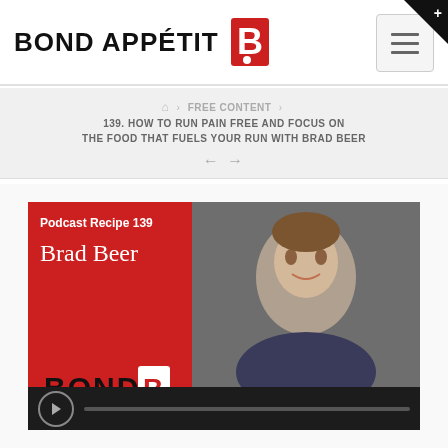Bond Appétit
FREE CONTENT > 139. HOW TO RUN PAIN FREE AND FOCUS ON THE FOOD THAT FUELS YOUR RUN WITH BRAD BEER
[Figure (photo): Podcast episode card showing 'Podcast Recipe 139 Brad Beer' in red, photo of smiling man in suit, Bond Appétit logo, and audio player bar]
139. How to Run Pain Free and